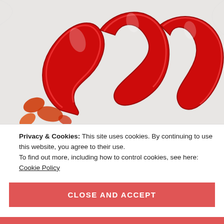[Figure (photo): Red metallic foil balloons spelling 'love' or a looping letter shape, lying on white fabric with scattered red rose petals.]
Privacy & Cookies: This site uses cookies. By continuing to use this website, you agree to their use.
To find out more, including how to control cookies, see here:
Cookie Policy
CLOSE AND ACCEPT